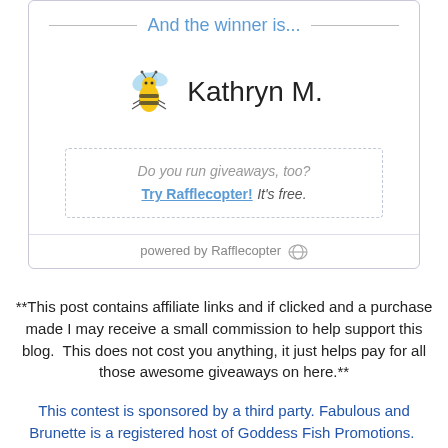[Figure (screenshot): Rafflecopter giveaway winner widget showing 'And the winner is...' header with a bee icon and the winner name 'Kathryn M.' along with a 'Do you run giveaways, too? Try Rafflecopter! It's free.' promo box and 'powered by Rafflecopter' footer.]
**This post contains affiliate links and if clicked and a purchase made I may receive a small commission to help support this blog.  This does not cost you anything, it just helps pay for all those awesome giveaways on here.**
This contest is sponsored by a third party. Fabulous and Brunette is a registered host of Goddess Fish Promotions.  Prizes are